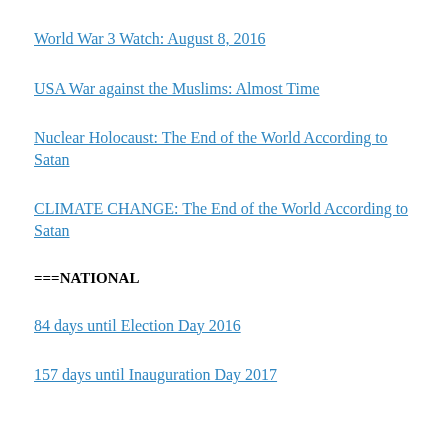World War 3 Watch: August 8, 2016
USA War against the Muslims: Almost Time
Nuclear Holocaust: The End of the World According to Satan
CLIMATE CHANGE: The End of the World According to Satan
===NATIONAL
84 days until Election Day 2016
157 days until Inauguration Day 2017